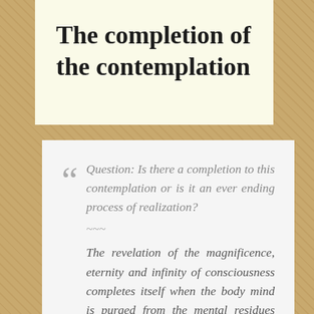The completion of the contemplation
Question: Is there a completion to this contemplation or is it an ever ending process of realization?
~~~
The revelation of the magnificence, eternity and infinity of consciousness completes itself when the body mind is purged from the mental residues that inhabit the mind as well as the body. The purging at the body feeling level is of